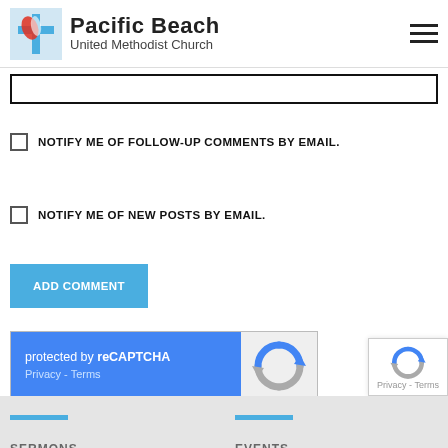Pacific Beach United Methodist Church
[Figure (other): Input text field with black border]
NOTIFY ME OF FOLLOW-UP COMMENTS BY EMAIL.
NOTIFY ME OF NEW POSTS BY EMAIL.
ADD COMMENT
[Figure (other): reCAPTCHA widget with blue background showing 'protected by reCAPTCHA' and Privacy - Terms links, with reCAPTCHA logo on right]
[Figure (other): reCAPTCHA corner badge with logo and Privacy - Terms text]
SERMONS   EVENTS